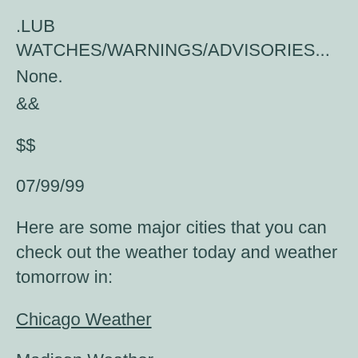.LUB WATCHES/WARNINGS/ADVISORIES...
None.
&&
$$
07/99/99
Here are some major cities that you can check out the weather today and weather tomorrow in:
Chicago Weather
Madison Weather